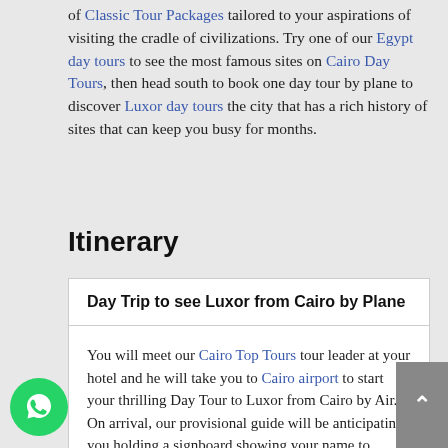of Classic Tour Packages tailored to your aspirations of visiting the cradle of civilizations. Try one of our Egypt day tours to see the most famous sites on Cairo Day Tours, then head south to book one day tour by plane to discover Luxor day tours the city that has a rich history of sites that can keep you busy for months.
Itinerary
Day Trip to see Luxor from Cairo by Plane
You will meet our Cairo Top Tours tour leader at your hotel and he will take you to Cairo airport to start your thrilling Day Tour to Luxor from Cairo by Air. On arrival, our provisional guide will be anticipating you holding a signboard showing your name to